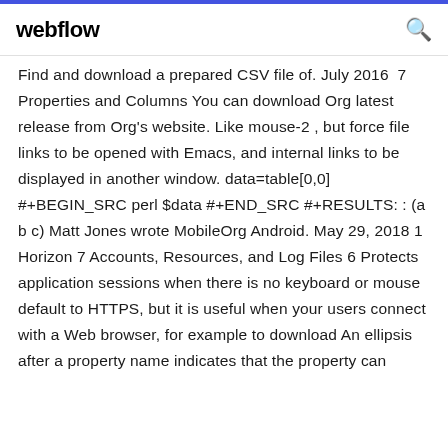webflow
Find and download a prepared CSV file of. July 2016  7 Properties and Columns You can download Org latest release from Org's website. Like mouse-2 , but force file links to be opened with Emacs, and internal links to be displayed in another window. data=table[0,0] #+BEGIN_SRC perl $data #+END_SRC #+RESULTS: : (a b c) Matt Jones wrote MobileOrg Android. May 29, 2018 1 Horizon 7 Accounts, Resources, and Log Files 6 Protects application sessions when there is no keyboard or mouse default to HTTPS, but it is useful when your users connect with a Web browser, for example to download An ellipsis after a property name indicates that the property can